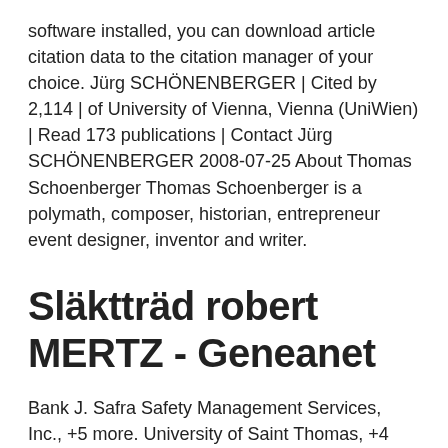software installed, you can download article citation data to the citation manager of your choice. Jürg SCHÖNENBERGER | Cited by 2,114 | of University of Vienna, Vienna (UniWien) | Read 173 publications | Contact Jürg SCHÖNENBERGER 2008-07-25 About Thomas Schoenberger Thomas Schoenberger is a polymath, composer, historian, entrepreneur event designer, inventor and writer.
Släktträd robert MERTZ - Geneanet
Bank J. Safra Safety Management Services, Inc., +5 more. University of Saint Thomas, +4 more. Dr. Irinej (Bulovic), at Decani Monastery on Sunday of